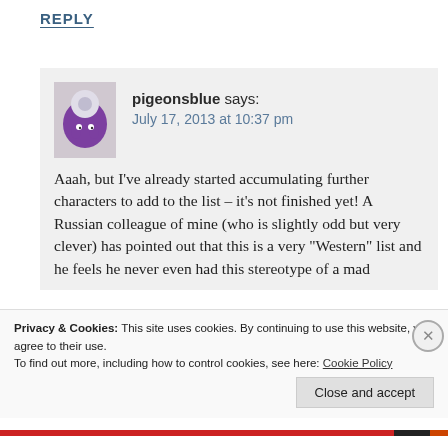REPLY
pigeonsblue says:
July 17, 2013 at 10:37 pm
Aaah, but I've already started accumulating further characters to add to the list – it's not finished yet! A Russian colleague of mine (who is slightly odd but very clever) has pointed out that this is a very “Western” list and he feels he never even had this stereotype of a mad scientist let alone engineer when he was...
Privacy & Cookies: This site uses cookies. By continuing to use this website, you agree to their use.
To find out more, including how to control cookies, see here: Cookie Policy
Close and accept